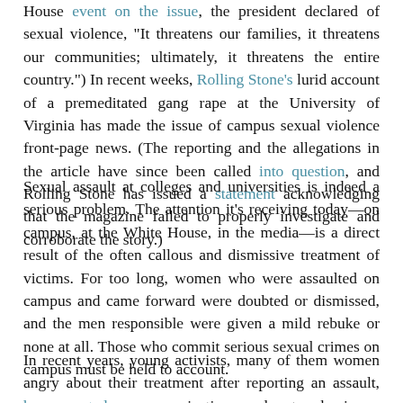House event on the issue, the president declared of sexual violence, "It threatens our families, it threatens our communities; ultimately, it threatens the entire country.") In recent weeks, Rolling Stone's lurid account of a premeditated gang rape at the University of Virginia has made the issue of campus sexual violence front-page news. (The reporting and the allegations in the article have since been called into question, and Rolling Stone has issued a statement acknowledging that the magazine failed to properly investigate and corroborate the story.)
Sexual assault at colleges and universities is indeed a serious problem. The attention it's receiving today—on campus, at the White House, in the media—is a direct result of the often callous and dismissive treatment of victims. For too long, women who were assaulted on campus and came forward were doubted or dismissed, and the men responsible were given a mild rebuke or none at all. Those who commit serious sexual crimes on campus must be held to account.
In recent years, young activists, many of them women angry about their treatment after reporting an assault, have created new organizations and networks in an effort to reform the way colleges handle sexual violence. They recognized that...